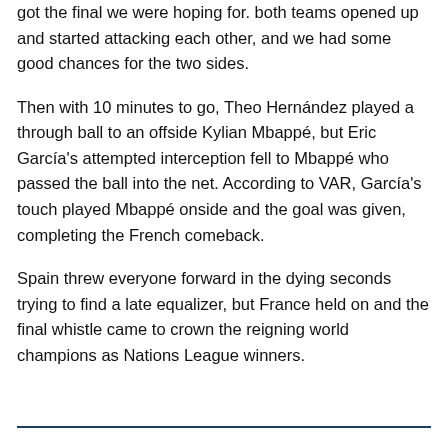got the final we were hoping for. both teams opened up and started attacking each other, and we had some good chances for the two sides.
Then with 10 minutes to go, Theo Hernández played a through ball to an offside Kylian Mbappé, but Eric García's attempted interception fell to Mbappé who passed the ball into the net. According to VAR, García's touch played Mbappé onside and the goal was given, completing the French comeback.
Spain threw everyone forward in the dying seconds trying to find a late equalizer, but France held on and the final whistle came to crown the reigning world champions as Nations League winners.